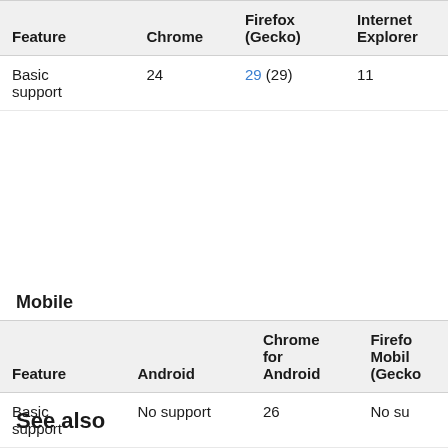| Feature | Chrome | Firefox (Gecko) | Internet Explorer |
| --- | --- | --- | --- |
| Basic support | 24 | 29 (29) | 11 |
Mobile
| Feature | Android | Chrome for Android | Firefox Mobile (Gecko) |
| --- | --- | --- | --- |
| Basic support | No support | 26 | No su… |
See also